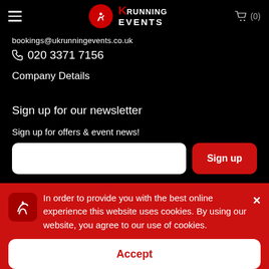UK Running Events (0)
bookings@ukrunningevents.co.uk
020 3371 7156
Company Details
Sign up for our newsletter
Sign up for offers & event news!
Sign up
In order to provide you with the best online experience this website uses cookies. By using our website, you agree to our use of cookies.
Accept